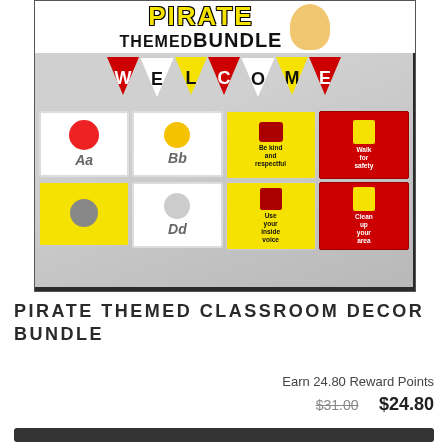[Figure (photo): Pirate Themed Bundle product image showing a classroom decorated with a WELCOME pennant banner and pirate-themed alphabet cards, classroom rules posters (Be kind and respectful, Walk for safety, Use your inside voice, Clean up your area), and decorative elements in red, yellow, and white colors.]
PIRATE THEMED CLASSROOM DECOR BUNDLE
Earn 24.80 Reward Points
$31.00 $24.80